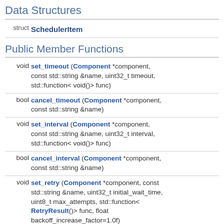Data Structures
|  |  |
| --- | --- |
| struct | SchedulerItem |
Public Member Functions
| return | signature |
| --- | --- |
| void | set_timeout (Component *component, const std::string &name, uint32_t timeout, std::function< void()> func) |
| bool | cancel_timeout (Component *component, const std::string &name) |
| void | set_interval (Component *component, const std::string &name, uint32_t interval, std::function< void()> func) |
| bool | cancel_interval (Component *component, const std::string &name) |
| void | set_retry (Component *component, const std::string &name, uint32_t initial_wait_time, uint8_t max_attempts, std::function< RetryResult()> func, float backoff_increase_factor=1.0f) |